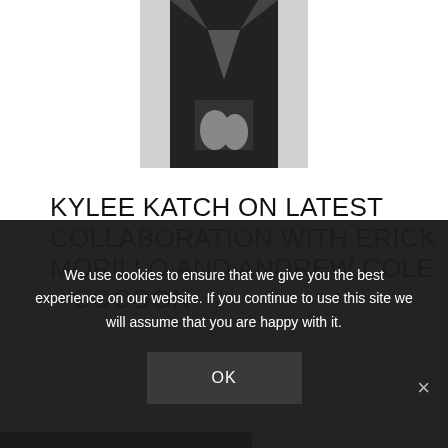[Figure (photo): Black and white photo of a person in a dark jacket, cropped to show torso and hands]
KYLEE KATCH ON LATEST COLLABORATION WITH ERICK MORILLO AND ANDREW COLE – COCOON
[Figure (photo): Concert photo showing musicians performing on stage, with a person headbanging in foreground and guitarist in striped shirt in background]
We use cookies to ensure that we give you the best experience on our website. If you continue to use this site we will assume that you are happy with it.